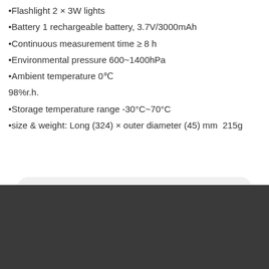Flashlight 2 × 3W lights
Battery 1 rechargeable battery, 3.7V/3000mAh
Continuous measurement time ≥ 8 h
Environmental pressure 600~1400hPa
Ambient temperature 0℃ 98%r.h.
Storage temperature range -30°C~70°C
size & weight: Long (324) × outer diameter (45) mm  215g
Previous:
Next: